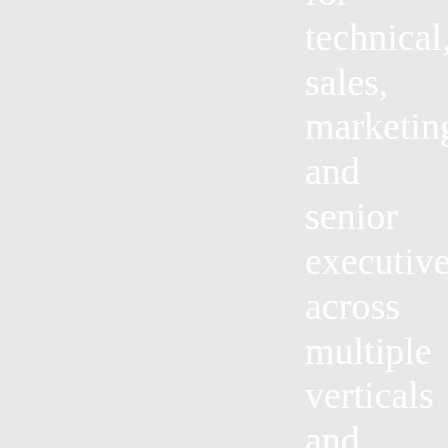for technical, sales, marketing and senior executives across multiple verticals and industries. True client HR/staffing partner that designs and leads talent acquisition strategies for time sensitive